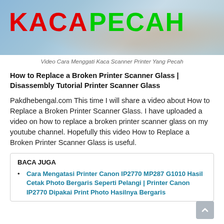[Figure (photo): Thumbnail image showing text 'KACA PECAH' in red and green bold letters over a background with a hand, related to broken scanner glass video]
Video Cara Menggati Kaca Scanner Printer Yang Pecah
How to Replace a Broken Printer Scanner Glass | Disassembly Tutorial Printer Scanner Glass
Pakdhebengal.com This time I will share a video about How to Replace a Broken Printer Scanner Glass. I have uploaded a video on how to replace a broken printer scanner glass on my youtube channel. Hopefully this video How to Replace a Broken Printer Scanner Glass is useful.
BACA JUGA
Cara Mengatasi Printer Canon IP2770 MP287 G1010 Hasil Cetak Photo Bergaris Seperti Pelangi | Printer Canon IP2770 Dipakai Print Photo Hasilnya Bergaris